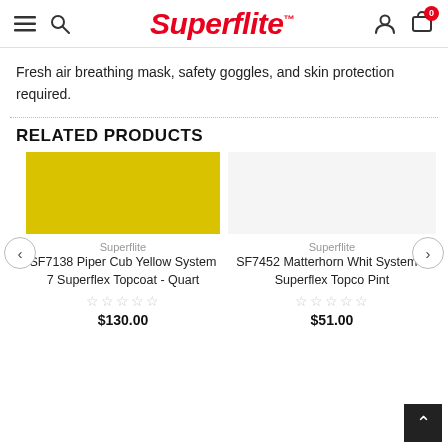Superflite
Fresh air breathing mask, safety goggles, and skin protection required.
RELATED PRODUCTS
[Figure (photo): Yellow color swatch rectangle for Piper Cub Yellow paint product]
Superflite
SF7138 Piper Cub Yellow System 7 Superflex Topcoat - Quart
☆☆☆☆☆
$130.00
Superflite
SF7452 Matterhorn White System 7 Superflex Topcoat - Pint
☆☆☆☆☆
$51.00